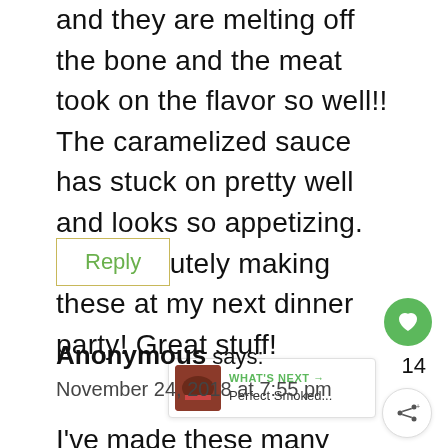and they are melting off the bone and the meat took on the flavor so well!! The caramelized sauce has stuck on pretty well and looks so appetizing. I'm absolutely making these at my next dinner party! Great stuff!
Reply
Anonymous says:
November 24, 2018 at 7:55 pm
I've made these many times in my